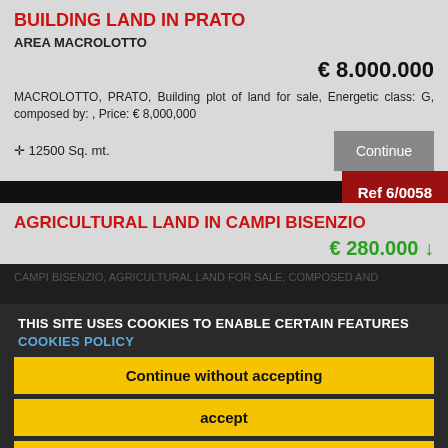BUILDING LAND IN PRATO
AREA MACROLOTTO
€ 8.000.000
MACROLOTTO, PRATO, Building plot of land for sale, Energetic class: G, composed by: , Price: € 8,000,000
⊕ 12500 Sq. mt.
Continue
Ref 6/0058
AGRICULTURAL LAND IN CAMPI BISENZIO
€ 280.000 ↓
THIS SITE USES COOKIES TO ENABLE CERTAIN FEATURES   COOKIES POLICY
Continue without accepting
accept
Preferences